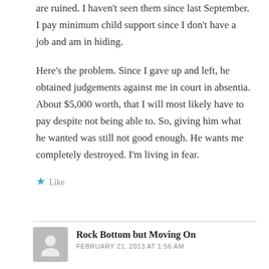are ruined. I haven't seen them since last September. I pay minimum child support since I don't have a job and am in hiding.
Here's the problem. Since I gave up and left, he obtained judgements against me in court in absentia. About $5,000 worth, that I will most likely have to pay despite not being able to. So, giving him what he wanted was still not good enough. He wants me completely destroyed. I'm living in fear.
Like
Rock Bottom but Moving On
FEBRUARY 21, 2013 AT 1:56 AM